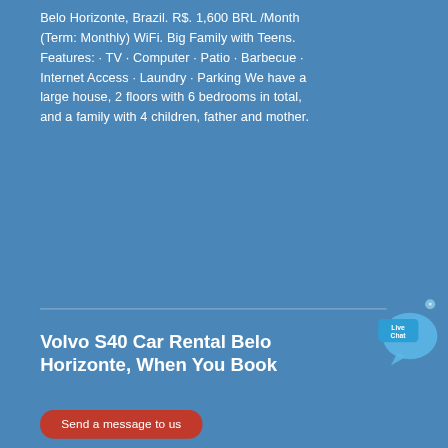Belo Horizonte, Brazil. R$. 1,600 BRL /Month (Term: Monthly) WiFi. Big Family with Teens. Features: · TV · Computer · Patio · Barbecue · Internet Access · Laundry · Parking We have a large house, 2 floors with 6 bedrooms in total, and a family with 4 children, father and mother.
[Figure (other): Live Chat widget with speech bubble icon and close X button]
Volvo S40 Car Rental Belo Horizonte, When You Book
Send a message to us
· Looking for Volvo S40 Rental in Belo Horizonte? Volvo S40 is a smart choice for those travelling to Belo Horizonte. Volvo S40 is Intermediate Class car and can fit up to 5 travellers and 2 pieces of luggage. 4 doors will allow easy ....